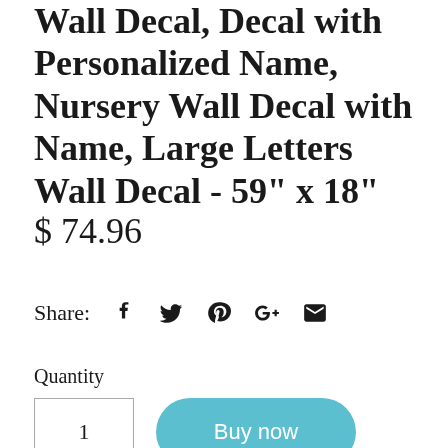Wall Decal, Decal with Personalized Name, Nursery Wall Decal with Name, Large Letters Wall Decal - 59" x 18"
$ 74.96
Share: [facebook] [twitter] [pinterest] [google+] [email]
Quantity
1
Buy now